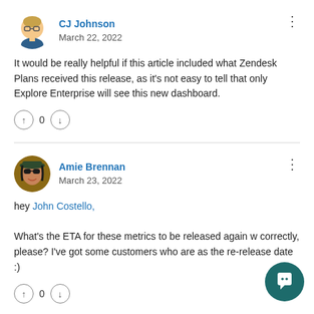[Figure (illustration): Avatar of CJ Johnson - cartoon female with glasses]
CJ Johnson
March 22, 2022
It would be really helpful if this article included what Zendesk Plans received this release, as it's not easy to tell that only Explore Enterprise will see this new dashboard.
[Figure (illustration): Avatar of Amie Brennan - photo of woman with sunglasses and hat]
Amie Brennan
March 23, 2022
hey John Costello,

What's the ETA for these metrics to be released again w correctly, please? I've got some customers who are as the re-release date :)